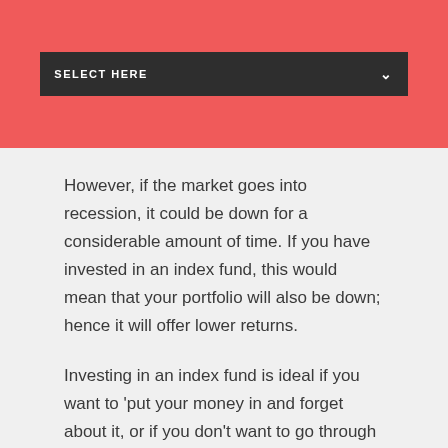SELECT HERE
However, if the market goes into recession, it could be down for a considerable amount of time. If you have invested in an index fund, this would mean that your portfolio will also be down; hence it will offer lower returns.
Investing in an index fund is ideal if you want to 'put your money in and forget about it, or if you don't want to go through the trouble of investing in individual stocks. Nevertheless, an index fund will offer you greater returns than a mutual fund.